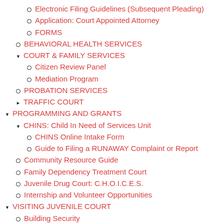Electronic Filing Guidelines (Subsequent Pleading)
Application: Court Appointed Attorney
FORMS
BEHAVIORAL HEALTH SERVICES
COURT & FAMILY SERVICES
Citizen Review Panel
Mediation Program
PROBATION SERVICES
TRAFFIC COURT
PROGRAMMING AND GRANTS
CHINS: Child In Need of Services Unit
CHINS Online Intake Form
Guide to Filing a RUNAWAY Complaint or Report
Community Resource Guide
Family Dependency Treatment Court
Juvenile Drug Court: C.H.O.I.C.E.S.
Internship and Volunteer Opportunities
VISITING JUVENILE COURT
Building Security
Court Hours & Holidays